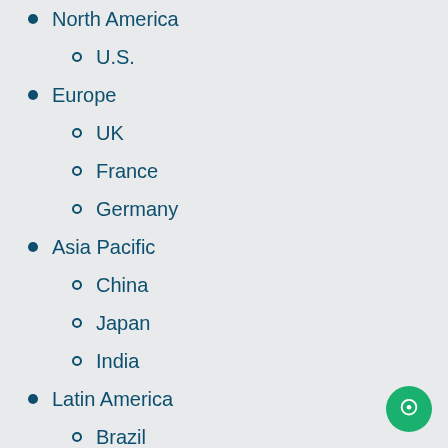North America
U.S.
Europe
UK
France
Germany
Asia Pacific
China
Japan
India
Latin America
Brazil
Middle East and Africa